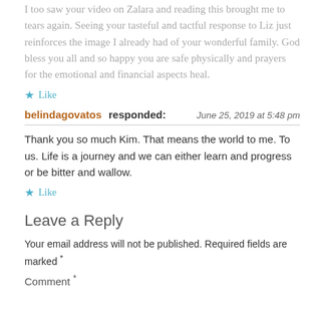I too saw your video on Zalara and reading this brought me to tears again. Seeing your tasteful and tactful response to Liz just reinforces the image I already had of your wonderful family. God bless you all and so happy you are safe physically and prayers for the emotional and financial aspects heal.
★ Like
belindagovatos responded: June 25, 2019 at 5:48 pm
Thank you so much Kim. That means the world to me. To us. Life is a journey and we can either learn and progress or be bitter and wallow.
★ Like
Leave a Reply
Your email address will not be published. Required fields are marked *
Comment *